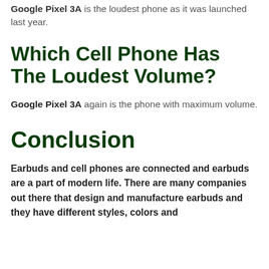Google Pixel 3A is the loudest phone as it was launched last year.
Which Cell Phone Has The Loudest Volume?
Google Pixel 3A again is the phone with maximum volume.
Conclusion
Earbuds and cell phones are connected and earbuds are a part of modern life. There are many companies out there that design and manufacture earbuds and they have different styles, colors and